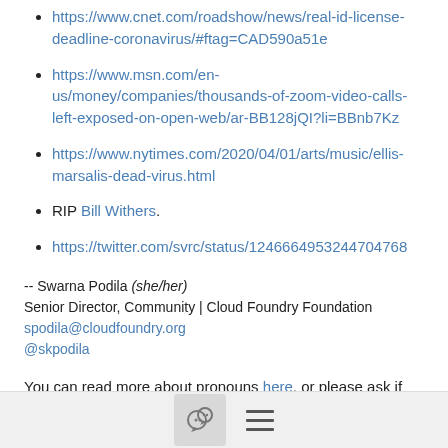https://www.cnet.com/roadshow/news/real-id-license-deadline-coronavirus/#ftag=CAD590a51e
https://www.msn.com/en-us/money/companies/thousands-of-zoom-video-calls-left-exposed-on-open-web/ar-BB128jQI?li=BBnb7Kz
https://www.nytimes.com/2020/04/01/arts/music/ellis-marsalis-dead-virus.html
RIP Bill Withers.
https://twitter.com/svrc/status/1246664953244704768
-- Swarna Podila (she/her)
Senior Director, Community | Cloud Foundry Foundation
spodila@cloudfoundry.org
@skpodila
You can read more about pronouns here, or please ask if you'd like to find out more.
[Figure (screenshot): Footer bar with a chat bubble icon button and a hamburger menu icon]